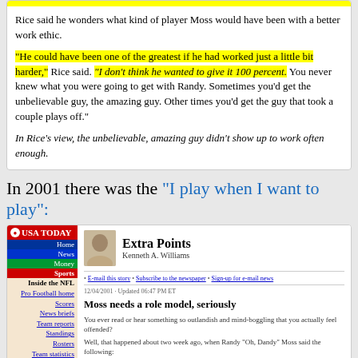Rice said he wonders what kind of player Moss would have been with a better work ethic.
"He could have been one of the greatest if he had worked just a little bit harder," Rice said. "I don't think he wanted to give it 100 percent. You never knew what you were going to get with Randy. Sometimes you'd get the unbelievable guy, the amazing guy. Other times you'd get the guy that took a couple plays off."
In Rice's view, the unbelievable, amazing guy didn't show up to work often enough.
In 2001 there was the "I play when I want to play":
[Figure (screenshot): USA Today website screenshot showing 'Extra Points' column by Kenneth A. Williams. Article titled 'Moss needs a role model, seriously' dated 12/04/2001. Left navigation bar shows USA Today sections. Article body discusses Randy Moss quote 'I play when I want to play' highlighted in yellow.]